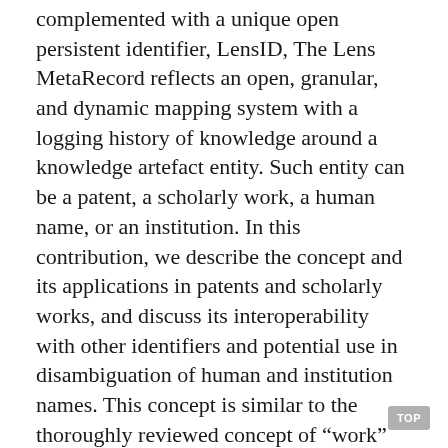complemented with a unique open persistent identifier, LensID, The Lens MetaRecord reflects an open, granular, and dynamic mapping system with a logging history of knowledge around a knowledge artefact entity. Such entity can be a patent, a scholarly work, a human name, or an institution. In this contribution, we describe the concept and its applications in patents and scholarly works, and discuss its interoperability with other identifiers and potential use in disambiguation of human and institution names. This concept is similar to the thoroughly reviewed concept of “work” among cataloguers in libraries with successfully complex bibliographic retrieval tools (Smiraglia, 2001). Leading librarians such as Antonio Panizzi, Eva Verona, Seymour Lebetzky and Kristin Antelman have actually shaped that concept as a “central object for retrieval” in the bibliographic universe to exploit recorded knowledge and over time, there seems to be a consensus that while relationships among works are complex, a taxonomy of relationships can still be structured to allow for explicit